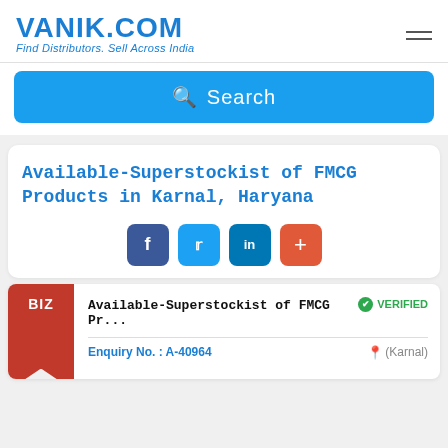VANIK.COM - Find Distributors. Sell Across India
[Figure (screenshot): Blue search button with magnifying glass icon and 'Search' label]
Available-Superstockist of FMCG Products in Karnal, Haryana
[Figure (infographic): Social share icons: Facebook (blue), Twitter (light blue), LinkedIn (dark blue), Plus (orange-red)]
BIZ
VERIFIED
Available-Superstockist of FMCG Pr...
Enquiry No. : A-40964
(Karnal)